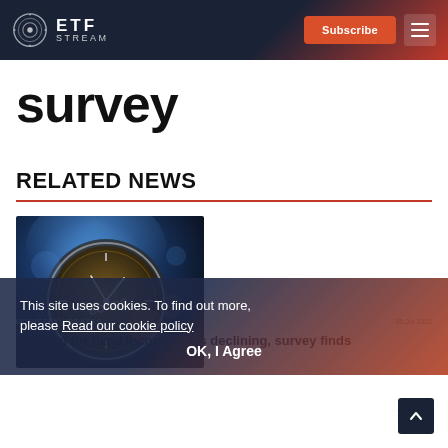ETF STREAM — Subscribe
survey
RELATED NEWS
[Figure (photo): Close-up photo of a pocket watch face with blue lighting and bokeh background, showing bonds-related imagery]
This site uses cookies. To find out more, please Read our cookie policy
OK, I Agree
INDUSTRY UPDATES
05 Jul 2022
Demand for fixed income ETFs declining, survey finds
Tom Eck